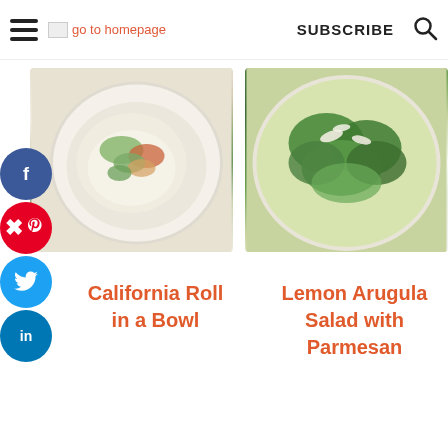go to homepage | SUBSCRIBE
[Figure (photo): Top-down view of California Roll in a Bowl on a white plate with green vegetables and rice]
[Figure (photo): Top-down view of Lemon Arugula Salad with Parmesan on a white plate with fresh green arugula leaves]
California Roll in a Bowl
Lemon Arugula Salad with Parmesan